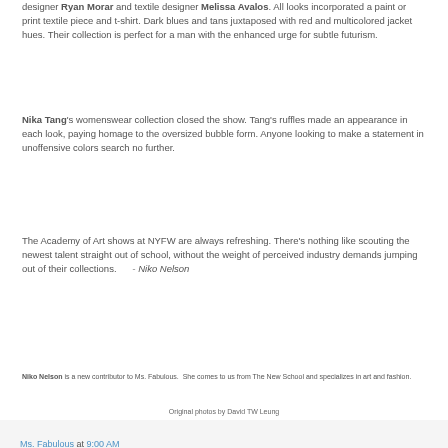designer Ryan Morar and textile designer Melissa Avalos. All looks incorporated a paint or print textile piece and t-shirt. Dark blues and tans juxtaposed with red and multicolored jacket hues. Their collection is perfect for a man with the enhanced urge for subtle futurism.
Nika Tang's womenswear collection closed the show. Tang's ruffles made an appearance in each look, paying homage to the oversized bubble form. Anyone looking to make a statement in unoffensive colors search no further.
The Academy of Art shows at NYFW are always refreshing. There's nothing like scouting the newest talent straight out of school, without the weight of perceived industry demands jumping out of their collections.      - Niko Nelson
Niko Nelson is a new contributor to Ms. Fabulous. She comes to us from The New School and specializes in art and fashion.
Original photos by David TW Leung
Ms. Fabulous at 9:00 AM